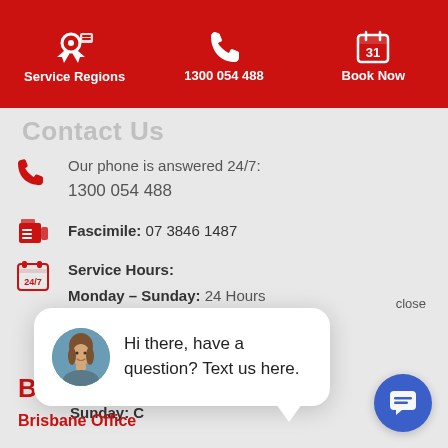Service Regions | 1300 054 488 | Book Now
Contact Us
Our phone is answered 24/7:
1300 054 488
Fascimile: 07 3846 1487
Service Hours:
Monday – Sunday: 24 Hours
Office Hours:
Monday –
Saturday:
Sunday: C
[Figure (screenshot): Chat popup with avatar photo of a woman and text: Hi there, have a question? Text us here. Close button top right.]
Business Details
Brisbane Office